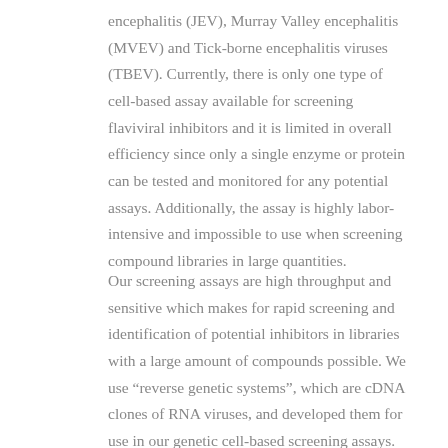encephalitis (JEV), Murray Valley encephalitis (MVEV) and Tick-borne encephalitis viruses (TBEV). Currently, there is only one type of cell-based assay available for screening flaviviral inhibitors and it is limited in overall efficiency since only a single enzyme or protein can be tested and monitored for any potential assays. Additionally, the assay is highly labor-intensive and impossible to use when screening compound libraries in large quantities.
Our screening assays are high throughput and sensitive which makes for rapid screening and identification of potential inhibitors in libraries with a large amount of compounds possible. We use “reverse genetic systems”, which are cDNA clones of RNA viruses, and developed them for use in our genetic cell-based screening assays. Comparisons